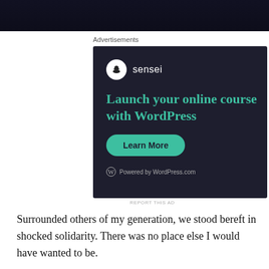[Figure (screenshot): Dark banner image strip at the top of the page, approximately 52px tall, very dark navy/black background.]
Advertisements
[Figure (screenshot): Sensei advertisement on a dark navy background. Shows the Sensei logo (white circle with a tree icon) and the text 'sensei', followed by the headline 'Launch your online course with WordPress', a teal 'Learn More' button, and a footer reading 'Powered by WordPress.com' with the WordPress logo.]
REPORT THIS AD
Surrounded others of my generation, we stood bereft in shocked solidarity. There was no place else I would have wanted to be.